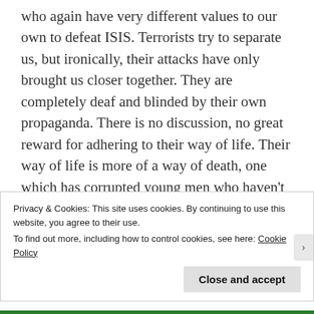who again have very different values to our own to defeat ISIS. Terrorists try to separate us, but ironically, their attacks have only brought us closer together. They are completely deaf and blinded by their own propaganda. There is no discussion, no great reward for adhering to their way of life. Their way of life is more of a way of death, one which has corrupted young men who haven't found their own path, to waste their lives for the sake of some invisible man in the sky.
A God which gets offended at cartoons, incites hate
Privacy & Cookies: This site uses cookies. By continuing to use this website, you agree to their use.
To find out more, including how to control cookies, see here: Cookie Policy
Close and accept